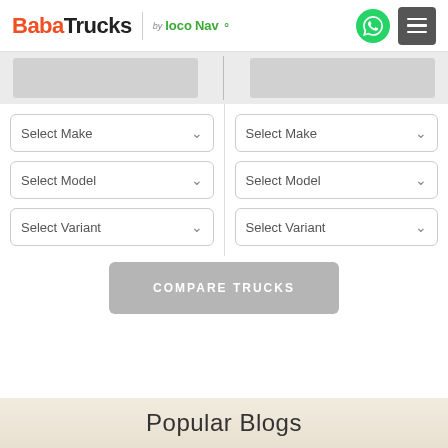BabaTrucks by locoNav
[Figure (screenshot): Truck comparison tool with two columns of dropdowns: Select Make, Select Model, Select Variant on each side]
COMPARE TRUCKS
Popular Blogs